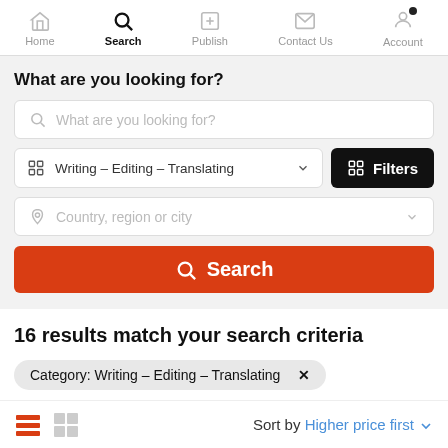Home | Search | Publish | Contact Us | Account
What are you looking for?
What are you looking for? (search input placeholder)
Writing - Editing - Translating (category dropdown)
Filters button
Country, region or city (location dropdown)
Search button
16 results match your search criteria
Category: Writing - Editing - Translating ×
Sort by Higher price first